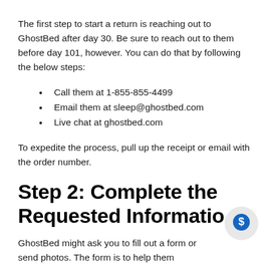The first step to start a return is reaching out to GhostBed after day 30. Be sure to reach out to them before day 101, however. You can do that by following the below steps:
Call them at 1-855-855-4499
Email them at sleep@ghostbed.com
Live chat at ghostbed.com
To expedite the process, pull up the receipt or email with the order number.
Step 2: Complete the Requested Information
GhostBed might ask you to fill out a form or send photos. The form is to help them